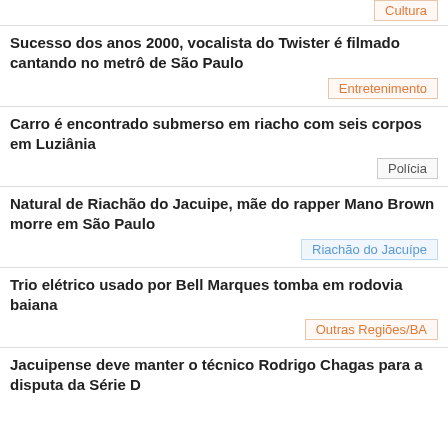Cultura
Sucesso dos anos 2000, vocalista do Twister é filmado cantando no metrô de São Paulo
Entretenimento
Carro é encontrado submerso em riacho com seis corpos em Luziânia
Polícia
Natural de Riachão do Jacuipe, mãe do rapper Mano Brown morre em São Paulo
Riachão do Jacuípe
Trio elétrico usado por Bell Marques tomba em rodovia baiana
Outras Regiões/BA
Jacuipense deve manter o técnico Rodrigo Chagas para a disputa da Série D